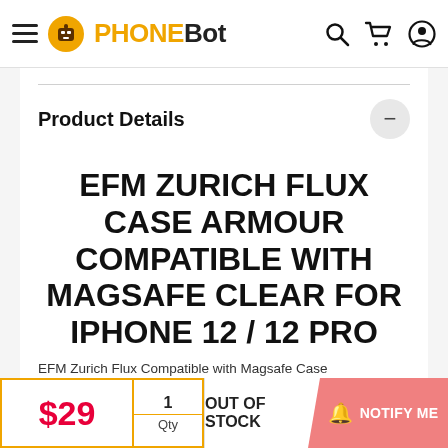PHONEBOT — navigation header with hamburger menu, logo, search, cart, and profile icons
Product Details
EFM ZURICH FLUX CASE ARMOUR COMPATIBLE WITH MAGSAFE CLEAR FOR IPHONE 12 / 12 PRO
EFM Zurich Flux Compatible with Magsafe Case
$29  |  1 Qty  |  OUT OF STOCK  |  NOTIFY ME